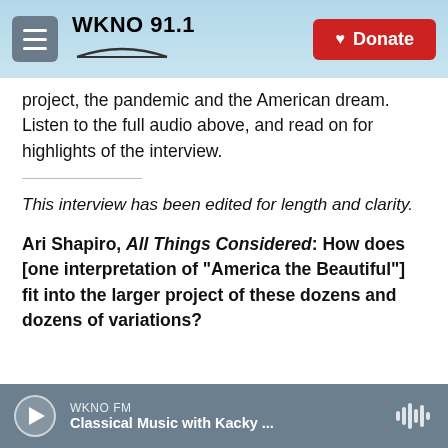WKNO 91.1 | Donate
project, the pandemic and the American dream. Listen to the full audio above, and read on for highlights of the interview.
This interview has been edited for length and clarity.
Ari Shapiro, All Things Considered: How does [one interpretation of "America the Beautiful"] fit into the larger project of these dozens and dozens of variations?
WKNO FM | Classical Music with Kacky ...